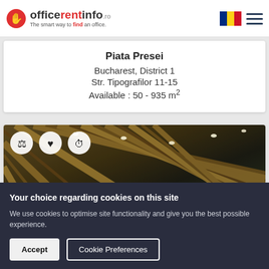officerentinfo.ro — The smart way to find an office.
Piata Presei
Bucharest, District 1
Str. Tipografilor 11-15
Available : 50 - 935 m²
[Figure (photo): Interior photo of an office building showing a modern ceiling with parallel wooden slats and recessed lighting, viewed from below at an angle. Three icon buttons (scales, heart, clock) overlaid in white circles at top left.]
Your choice regarding cookies on this site
We use cookies to optimise site functionality and give you the best possible experience.
Accept
Cookie Preferences